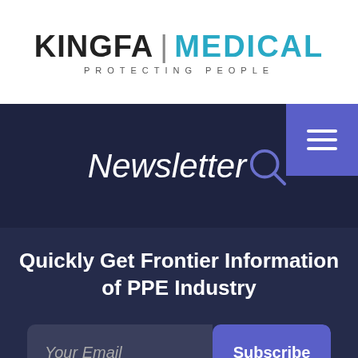[Figure (logo): Kingfa Medical logo with 'PROTECTING PEOPLE' tagline]
Newsletter
Quickly Get Frontier Information of PPE Industry
Your Email
Subscribe
[Figure (illustration): Mail envelope icon]